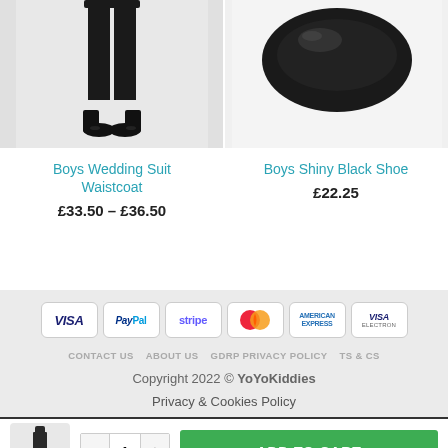[Figure (photo): Lower half of a boy mannequin wearing a black suit and black shoes on white/grey background]
Boys Wedding Suit Waistcoat
£33.50 – £36.50
[Figure (photo): Top portion of a black shiny shoe on white background]
Boys Shiny Black Shoe
£22.25
[Figure (other): Payment method badges: VISA, PayPal, stripe, MasterCard, American Express, VISA Electron]
CONTACT US   ABOUT US   GDRP PRIVACY POLICY   TS & CS
Copyright 2022 © YoYoKiddies
Privacy & Cookies Policy
ADD TO CART